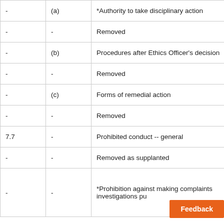|  |  |  |
| --- | --- | --- |
| - | (a) | *Authority to take disciplinary action |
| - | - | Removed |
| - | (b) | Procedures after Ethics Officer's decision |
| - | - | Removed |
| - | (c) | Forms of remedial action |
| - | - | Removed |
| 7.7 | - | Prohibited conduct -- general |
| - | - | Removed as supplanted |
| - | - | *Prohibition against making complaints investigations pu... |